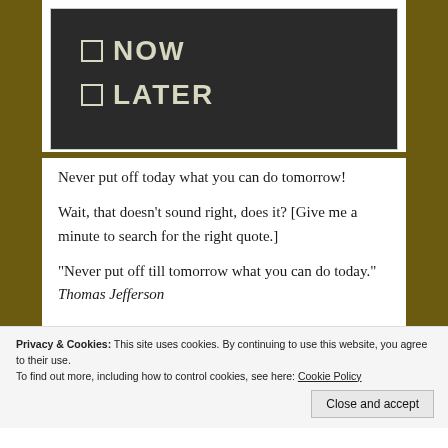[Figure (photo): A blackboard/chalkboard with two checkbox items written in chalk: a checkbox next to 'NOW' (partially visible) and a checkbox next to 'LATER']
Never put off today what you can do tomorrow!
Wait, that doesn't sound right, does it? [Give me a minute to search for the right quote.]
“Never put off till tomorrow what you can do today.” Thomas Jefferson
Privacy & Cookies: This site uses cookies. By continuing to use this website, you agree to their use.
To find out more, including how to control cookies, see here: Cookie Policy